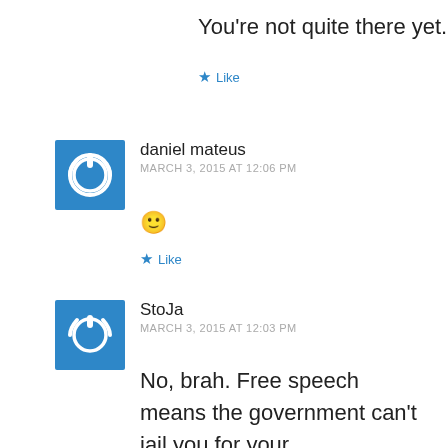You're not quite there yet.
★ Like
daniel mateus
MARCH 3, 2015 AT 12:06 PM
[Figure (illustration): Blue square avatar with white power button icon]
🙂
★ Like
[Figure (illustration): Blue square avatar with white power button icon]
StoJa
MARCH 3, 2015 AT 12:03 PM
No, brah. Free speech means the government can't jail you for your